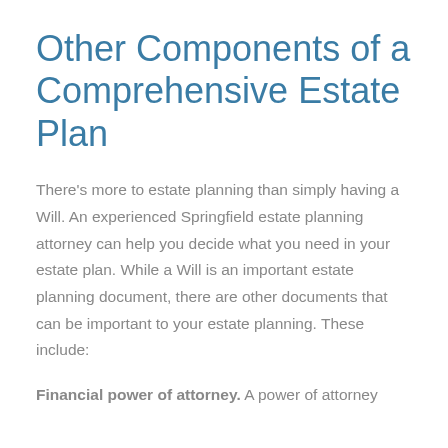Other Components of a Comprehensive Estate Plan
There's more to estate planning than simply having a Will. An experienced Springfield estate planning attorney can help you decide what you need in your estate plan. While a Will is an important estate planning document, there are other documents that can be important to your estate planning. These include:
Financial power of attorney. A power of attorney